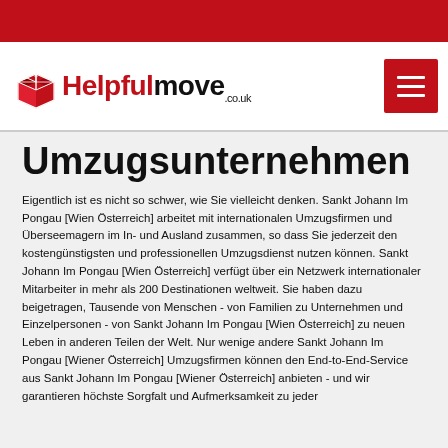[Figure (logo): Helpfulmove.co.uk logo with red box icon and hamburger menu button]
Umzugsunternehmen
Eigentlich ist es nicht so schwer, wie Sie vielleicht denken. Sankt Johann Im Pongau [Wien Österreich] arbeitet mit internationalen Umzugsfirmen und Überseemagern im In- und Ausland zusammen, so dass Sie jederzeit den kostengünstigsten und professionellen Umzugsdienst nutzen können. Sankt Johann Im Pongau [Wien Österreich] verfügt über ein Netzwerk internationaler Mitarbeiter in mehr als 200 Destinationen weltweit. Sie haben dazu beigetragen, Tausende von Menschen - von Familien zu Unternehmen und Einzelpersonen - von Sankt Johann Im Pongau [Wien Österreich] zu neuen Leben in anderen Teilen der Welt. Nur wenige andere Sankt Johann Im Pongau [Wiener Österreich] Umzugsfirmen können den End-to-End-Service aus Sankt Johann Im Pongau [Wiener Österreich] anbieten - und wir garantieren höchste Sorgfalt und Aufmerksamkeit zu jeder